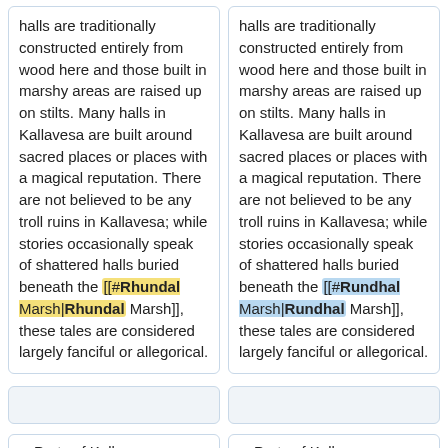halls are traditionally constructed entirely from wood here and those built in marshy areas are raised up on stilts. Many halls in Kallavesa are built around sacred places or places with a magical reputation. There are not believed to be any troll ruins in Kallavesa; while stories occasionally speak of shattered halls buried beneath the [[#Rhundal Marsh|Rhundal Marsh]], these tales are considered largely fanciful or allegorical.
halls are traditionally constructed entirely from wood here and those built in marshy areas are raised up on stilts. Many halls in Kallavesa are built around sacred places or places with a magical reputation. There are not believed to be any troll ruins in Kallavesa; while stories occasionally speak of shattered halls buried beneath the [[#Rundhal Marsh|Rundhal Marsh]], these tales are considered largely fanciful or allegorical.
- Parts of Kallavesa, especially the [[#West
+ Parts of Kallavesa, especially the [[#West